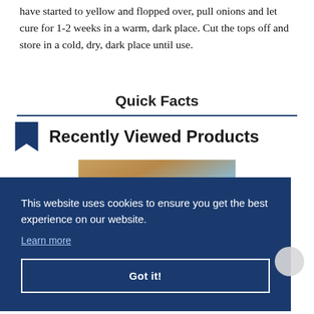have started to yellow and flopped over, pull onions and let cure for 1-2 weeks in a warm, dark place. Cut the tops off and store in a cold, dry, dark place until use.
Quick Facts
Recently Viewed Products
[Figure (photo): Partial product image showing a warm-toned subject against a light blue background, partially obscured by cookie consent overlay]
This website uses cookies to ensure you get the best experience on our website.
Learn more

Got it!